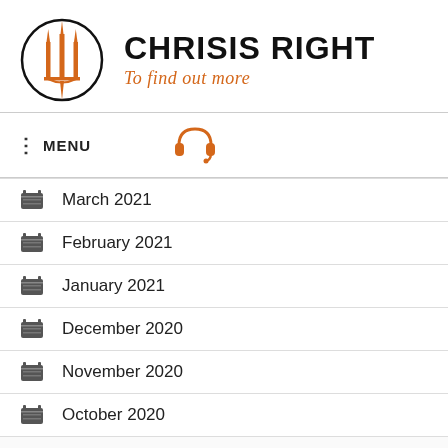[Figure (logo): Chrisis Right logo with trident/torch symbol in a circle and brand name]
CHRISIS RIGHT
To find out more
March 2021
February 2021
January 2021
December 2020
November 2020
October 2020
September 2020